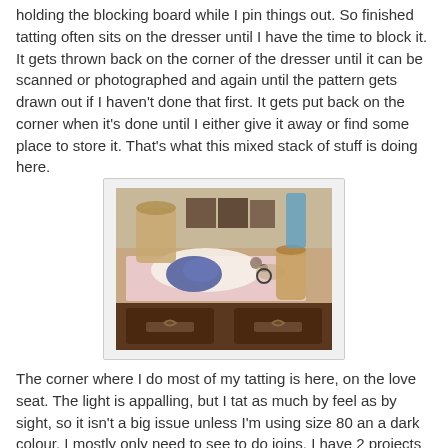holding the blocking board while I pin things out. So finished tatting often sits on the dresser until I have the time to block it. It gets thrown back on the corner of the dresser until it can be scanned or photographed and again until the pattern gets drawn out if I haven't done that first. It gets put back on the corner when it's done until I either give it away or find some place to store it. That's what this mixed stack of stuff is doing here.
[Figure (photo): A photograph of a wooden dresser top cluttered with tatting lace, craft supplies, small boxes, and other items.]
The corner where I do most of my tatting is here, on the love seat. The light is appalling, but I tat as much by feel as by sight, so it isn't a big issue unless I'm using size 80 an a dark colour. I mostly only need to see to do joins. I have 2 projects sitting there at the moment, a motif I'm working on in pale yellow where things have gotten to the point where it needs my undivided attention and the bookmark that requires less